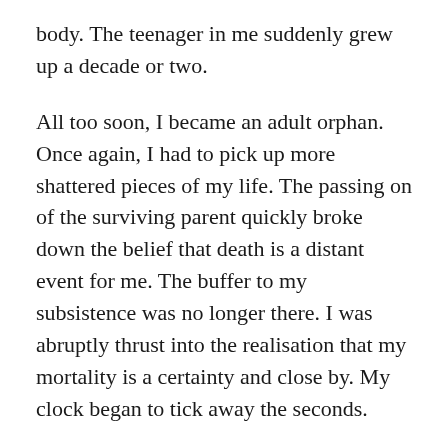body. The teenager in me suddenly grew up a decade or two.
All too soon, I became an adult orphan. Once again, I had to pick up more shattered pieces of my life. The passing on of the surviving parent quickly broke down the belief that death is a distant event for me. The buffer to my subsistence was no longer there. I was abruptly thrust into the realisation that my mortality is a certainty and close by. My clock began to tick away the seconds.
Suddenly there was much to do and little time to accomplish them. I did not even know where to begin. I got lost in the midst of all those